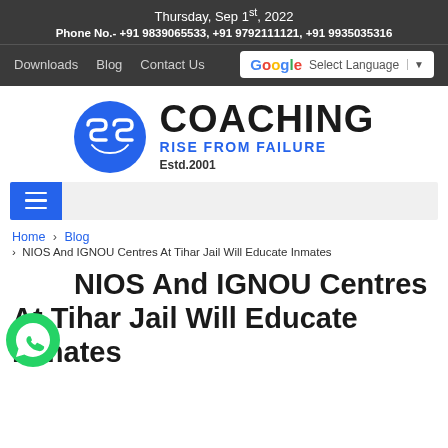Thursday, Sep 1st, 2022
Phone No.- +91 9839065533, +91 9792111121, +91 9935035316
Downloads  Blog  Contact Us  Select Language
[Figure (logo): SS Coaching logo with blue circle containing SS letters, COACHING text, RISE FROM FAILURE tagline, Estd.2001]
[Figure (other): Navigation hamburger menu button]
Home > Blog > NIOS And IGNOU Centres At Tihar Jail Will Educate Inmates
NIOS And IGNOU Centres At Tihar Jail Will Educate Inmates